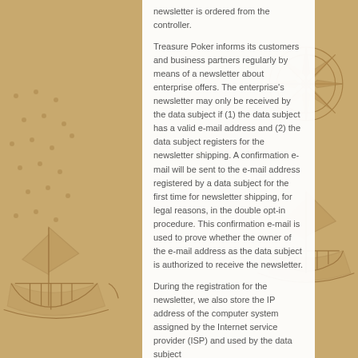newsletter is ordered from the controller.
Treasure Poker informs its customers and business partners regularly by means of a newsletter about enterprise offers. The enterprise's newsletter may only be received by the data subject if (1) the data subject has a valid e-mail address and (2) the data subject registers for the newsletter shipping. A confirmation e-mail will be sent to the e-mail address registered by a data subject for the first time for newsletter shipping, for legal reasons, in the double opt-in procedure. This confirmation e-mail is used to prove whether the owner of the e-mail address as the data subject is authorized to receive the newsletter.
During the registration for the newsletter, we also store the IP address of the computer system assigned by the Internet service provider (ISP) and used by the data subject